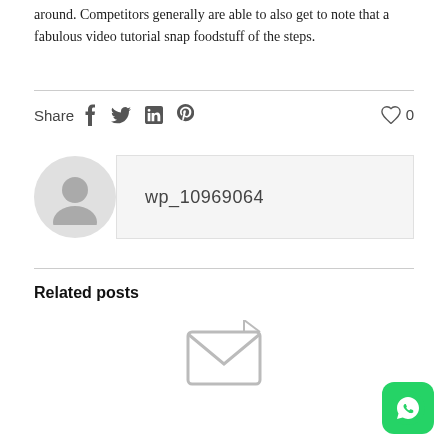around. Competitors generally are able to also get to note that a fabulous video tutorial snap foodstuff of the steps.
Share
wp_10969064
Related posts
[Figure (illustration): Placeholder image icon (envelope/image placeholder)]
[Figure (logo): WhatsApp icon button (green rounded square with phone handset)]